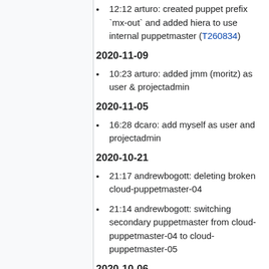12:12 arturo: created puppet prefix `mx-out` and added hiera to use internal puppetmaster (T260834)
2020-11-09
10:23 arturo: added jmm (moritz) as user & projectadmin
2020-11-05
16:28 dcaro: add myself as user and projectadmin
2020-10-21
21:17 andrewbogott: deleting broken cloud-puppetmaster-04
21:14 andrewbogott: switching secondary puppetmaster from cloud-puppetmaster-04 to cloud-puppetmaster-05
2020-10-06